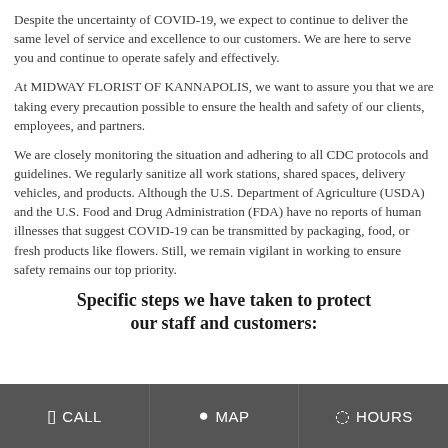Despite the uncertainty of COVID-19, we expect to continue to deliver the same level of service and excellence to our customers. We are here to serve you and continue to operate safely and effectively.
At MIDWAY FLORIST OF KANNAPOLIS, we want to assure you that we are taking every precaution possible to ensure the health and safety of our clients, employees, and partners.
We are closely monitoring the situation and adhering to all CDC protocols and guidelines. We regularly sanitize all work stations, shared spaces, delivery vehicles, and products. Although the U.S. Department of Agriculture (USDA) and the U.S. Food and Drug Administration (FDA) have no reports of human illnesses that suggest COVID-19 can be transmitted by packaging, food, or fresh products like flowers. Still, we remain vigilant in working to ensure safety remains our top priority.
Specific steps we have taken to protect our staff and customers:
CALL   MAP   HOURS